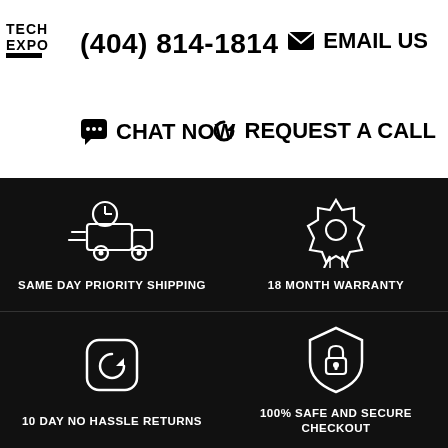[Figure (logo): TECHEXPO logo text with black underline bar]
(404) 814-1814
✉ EMAIL US
💬 CHAT NOW
↺ REQUEST A CALL
[Figure (illustration): White outline icon of a delivery truck with clock – SAME DAY PRIORITY SHIPPING]
SAME DAY PRIORITY SHIPPING
[Figure (illustration): White outline icon of an award/badge ribbon – 18 MONTH WARRANTY]
18 MONTH WARRANTY
[Figure (illustration): White outline icon of a rounded square with refresh/return arrow – 10 DAY NO HASSLE RETURNS]
10 DAY NO HASSLE RETURNS
[Figure (illustration): White outline icon of a shield with padlock – 100% SAFE AND SECURE CHECKOUT]
100% SAFE AND SECURE CHECKOUT